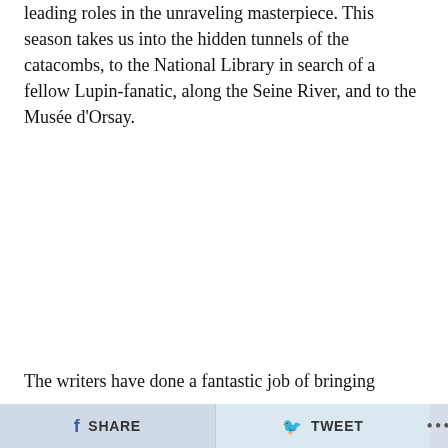leading roles in the unraveling masterpiece. This season takes us into the hidden tunnels of the catacombs, to the National Library in search of a fellow Lupin-fanatic, along the Seine River, and to the Musée d'Orsay.
The writers have done a fantastic job of bringing everything that came to light in Part 1 full circle, and the
SHARE   TWEET   ...